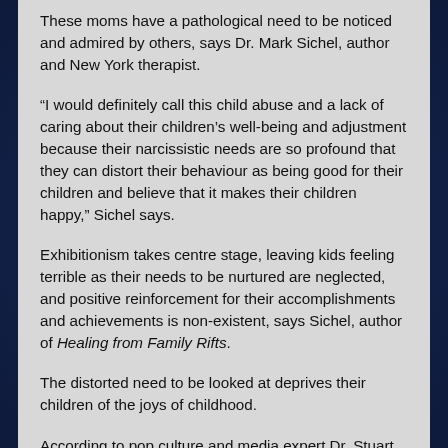These moms have a pathological need to be noticed and admired by others, says Dr. Mark Sichel, author and New York therapist.
“I would definitely call this child abuse and a lack of caring about their children’s well-being and adjustment because their narcissistic needs are so profound that they can distort their behaviour as being good for their children and believe that it makes their children happy,” Sichel says.
Exhibitionism takes centre stage, leaving kids feeling terrible as their needs to be nurtured are neglected, and positive reinforcement for their accomplishments and achievements is non-existent, says Sichel, author of Healing from Family Rifts.
The distorted need to be looked at deprives their children of the joys of childhood.
According to pop culture and media expert Dr. Stuart Fischoff, it’s the “desperation syndrome” in the age of mass media.